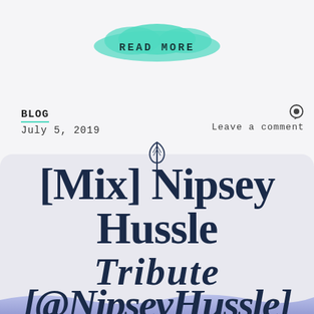[Figure (illustration): Teal cloud-shaped 'READ MORE' button at top center]
BLOG
July 5, 2019
Leave a comment
[Figure (illustration): Leaf/feather icon above card]
[Mix] Nipsey Hussle Tribute [@NipseyHussle]